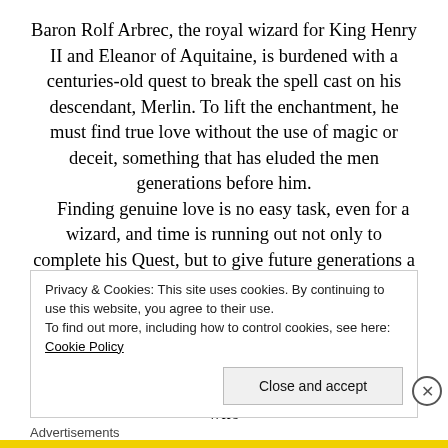Baron Rolf Arbrec, the royal wizard for King Henry II and Eleanor of Aquitaine, is burdened with a centuries-old quest to break the spell cast on his descendant, Merlin. To lift the enchantment, he must find true love without the use of magic or deceit, something that has eluded the men generations before him.
    Finding genuine love is no easy task, even for a wizard, and time is running out not only to complete his Quest, but to give future generations a chance at happiness. When Melissa steps from his dreams and into his arms, he realizes his need for her love runs deeper than just a way to free Merlin.
    Lady Melissa Garrick travels to London to meet her betrothed. Along the way, she encounters a man who
Privacy & Cookies: This site uses cookies. By continuing to use this website, you agree to their use.
To find out more, including how to control cookies, see here: Cookie Policy
Close and accept
Advertisements